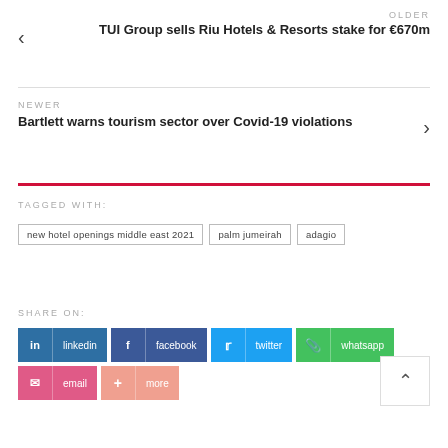OLDER
TUI Group sells Riu Hotels & Resorts stake for €670m
NEWER
Bartlett warns tourism sector over Covid-19 violations
TAGGED WITH:
new hotel openings middle east 2021
palm jumeirah
adagio
SHARE ON:
linkedin
facebook
twitter
whatsapp
email
more